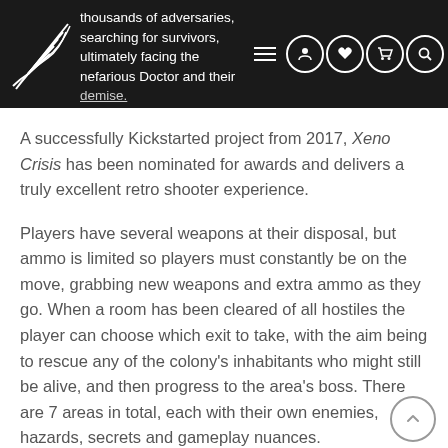thousands of adversaries, searching for survivors, ultimately facing the nefarious Doctor and their demise.
A successfully Kickstarted project from 2017, Xeno Crisis has been nominated for awards and delivers a truly excellent retro shooter experience.
Players have several weapons at their disposal, but ammo is limited so players must constantly be on the move, grabbing new weapons and extra ammo as they go. When a room has been cleared of all hostiles the player can choose which exit to take, with the aim being to rescue any of the colony’s inhabitants who might still be alive, and then progress to the area’s boss. There are 7 areas in total, each with their own enemies, hazards, secrets and gameplay nuances.